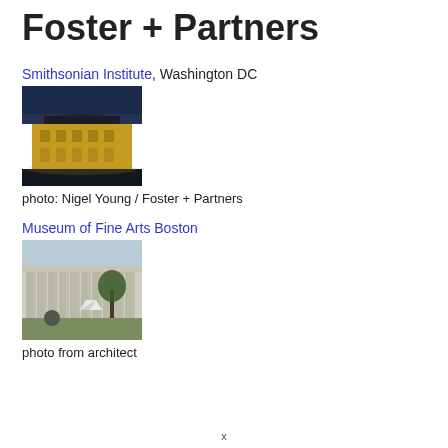Foster + Partners
Smithsonian Institute, Washington DC
[Figure (photo): Aerial night photo of Smithsonian Institute building in Washington DC, yellow-lit classical building with modern glass roof addition, dark sky]
photo: Nigel Young / Foster + Partners
Museum of Fine Arts Boston
[Figure (photo): Exterior photo of Museum of Fine Arts Boston showing classical colonnade facade with trees in foreground, overcast sky]
photo from architect
x